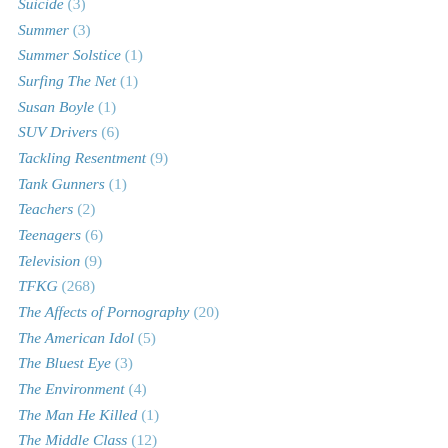Suicide (3)
Summer (3)
Summer Solstice (1)
Surfing The Net (1)
Susan Boyle (1)
SUV Drivers (6)
Tackling Resentment (9)
Tank Gunners (1)
Teachers (2)
Teenagers (6)
Television (9)
TFKG (268)
The Affects of Pornography (20)
The American Idol (5)
The Bluest Eye (3)
The Environment (4)
The Man He Killed (1)
The Middle Class (12)
The New Republic (1)
The New Yorker (11)